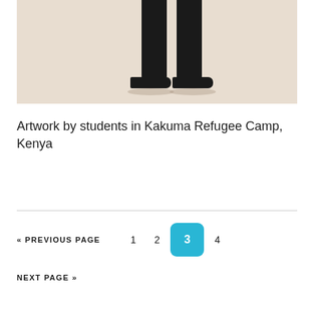[Figure (photo): Bottom portion of a painting showing the legs and feet (in dark trousers and black shoes) of a standing figure against a light beige background, with faint shadow marks beneath the feet. Artwork by students in Kakuma Refugee Camp, Kenya.]
Artwork by students in Kakuma Refugee Camp, Kenya
« PREVIOUS PAGE   1   2   3   4
NEXT PAGE »